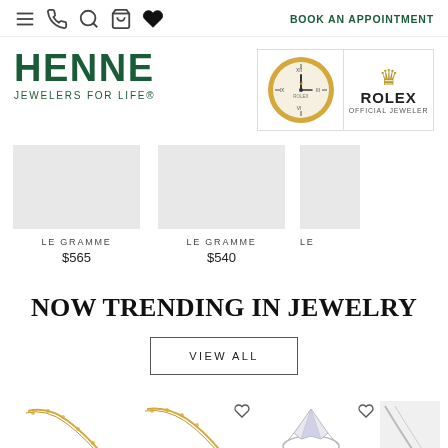BOOK AN APPOINTMENT
[Figure (logo): Henne Jewelers logo with text HENNE JEWELERS FOR LIFE]
[Figure (logo): Rolex Official Jeweler badge with clock and crown logo]
[Figure (photo): Product image placeholder for Le Gramme item]
LE GRAMME
$565
[Figure (photo): Product image placeholder for Le Gramme item]
LE GRAMME
$540
[Figure (photo): Partial product image placeholder for Le Gramme item]
LE
NOW TRENDING IN JEWELRY
VIEW ALL
[Figure (photo): Gold chain necklace jewelry preview]
[Figure (photo): Gold chain with pendant jewelry preview]
[Figure (photo): Diamond cluster ring jewelry preview]
[Figure (photo): Partial jewelry item preview]